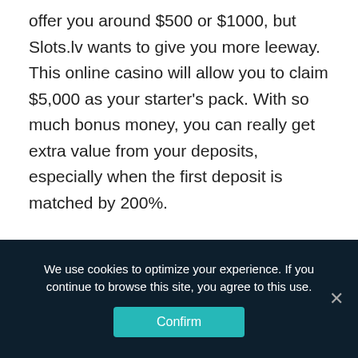offer you around $500 or $1000, but Slots.lv wants to give you more leeway. This online casino will allow you to claim $5,000 as your starter's pack. With so much bonus money, you can really get extra value from your deposits, especially when the first deposit is matched by 200%.
So, $5,000 may look a bit too intimidating at first, but Slots.lv Online Casino has come up with a great way to let you claim the promo and not carry too much of a burden in terms of wagering requirements.
Simple as it is, this bonus allows you to claim up to $1,000 on
We use cookies to optimize your experience. If you continue to browse this site, you agree to this use.